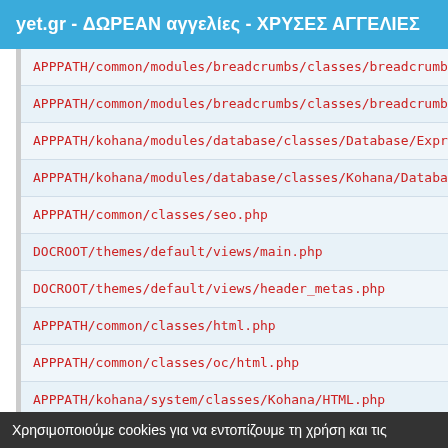yet.gr - ΔΩΡΕΑΝ αγγελίες - ΧΡΥΣΕΣ ΑΓΓΕΛΙΕΣ
APPPATH/common/modules/breadcrumbs/classes/breadcrumbs
APPPATH/common/modules/breadcrumbs/classes/breadcrumb.
APPPATH/kohana/modules/database/classes/Database/Expre
APPPATH/kohana/modules/database/classes/Kohana/Databas
APPPATH/common/classes/seo.php
DOCROOT/themes/default/views/main.php
DOCROOT/themes/default/views/header_metas.php
APPPATH/common/classes/html.php
APPPATH/common/classes/oc/html.php
APPPATH/kohana/system/classes/Kohana/HTML.php
APPPATH/common/classes/model/forum.php
Χρησιμοποιούμε cookies για να εντοπίζουμε τη χρήση και τις